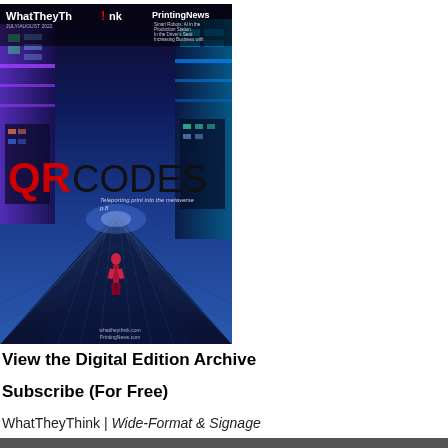[Figure (illustration): Magazine cover of WhatTheyThink / PrintingNews featuring QR CODES headline with futuristic neon city corridor background and a figure walking, July/August 2022 issue]
View the Digital Edition Archive
Subscribe (For Free)
WhatTheyThink | Wide-Format & Signage